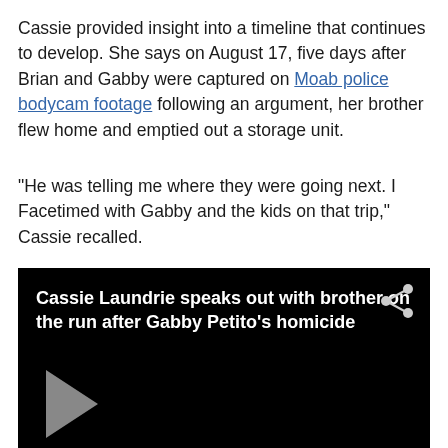Cassie provided insight into a timeline that continues to develop. She says on August 17, five days after Brian and Gabby were captured on Moab police bodycam footage following an argument, her brother flew home and emptied out a storage unit.
"He was telling me where they were going next. I Facetimed with Gabby and the kids on that trip," Cassie recalled.
[Figure (screenshot): Video thumbnail with black background showing title 'Cassie Laundrie speaks out with brother on the run after Gabby Petito's homicide' in white text with a share icon, and a grey play button triangle at the bottom left.]